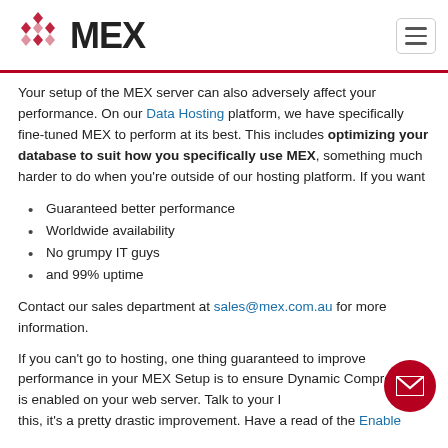MEX
Your setup of the MEX server can also adversely affect your performance. On our Data Hosting platform, we have specifically fine-tuned MEX to perform at its best. This includes optimizing your database to suit how you specifically use MEX, something much harder to do when you’re outside of our hosting platform. If you want
Guaranteed better performance
Worldwide availability
No grumpy IT guys
and 99% uptime
Contact our sales department at sales@mex.com.au for more information.
If you can't go to hosting, one thing guaranteed to improve performance in your MEX Setup is to ensure Dynamic Compression is enabled on your web server. Talk to your I... this, it's a pretty drastic improvement. Have a read of the Enable